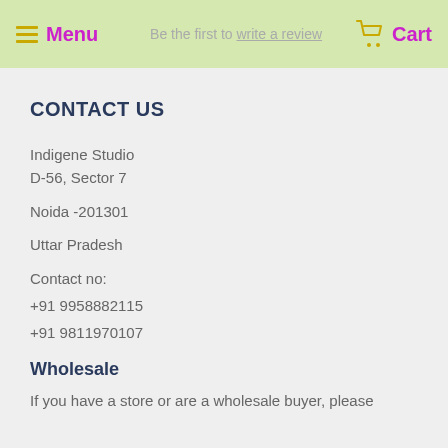Menu  Be the first to write a review  Cart
CONTACT US
Indigene Studio
D-56, Sector 7

Noida -201301

Uttar Pradesh

Contact no:

+91 9958882115

+91 9811970107
Wholesale
If you have a store or are a wholesale buyer, please